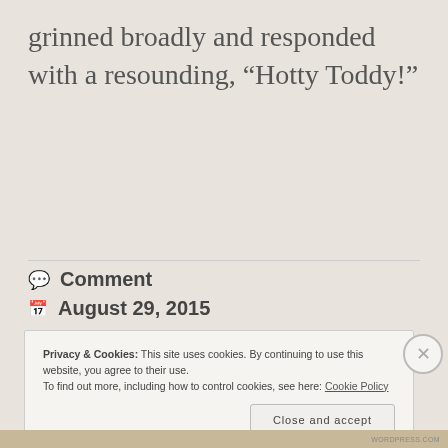grinned broadly and responded with a resounding, “Hotty Toddy!”
💬 Comment
📅 August 29, 2015
Privacy & Cookies:  This site uses cookies. By continuing to use this website, you agree to their use.
To find out more, including how to control cookies, see here: Cookie Policy
Close and accept
WORDPRESS.COM